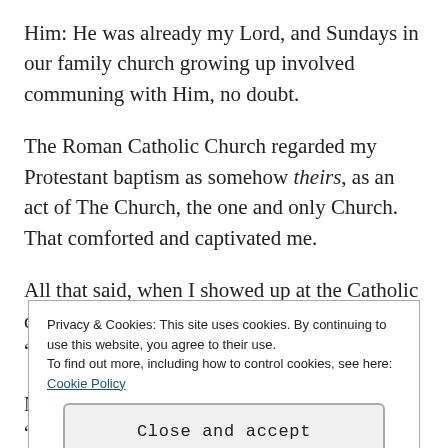Him: He was already my Lord, and Sundays in our family church growing up involved communing with Him, no doubt.
The Roman Catholic Church regarded my Protestant baptism as somehow theirs, as an act of The Church, the one and only Church. That comforted and captivated me.
All that said, when I showed up at the Catholic doorstep, I had never been to confession; the “Confirmation” I had received bore little
Privacy & Cookies: This site uses cookies. By continuing to use this website, you agree to their use.
To find out more, including how to control cookies, see here: Cookie Policy
Close and accept
Now the fact in the Georgetown University “RCIA